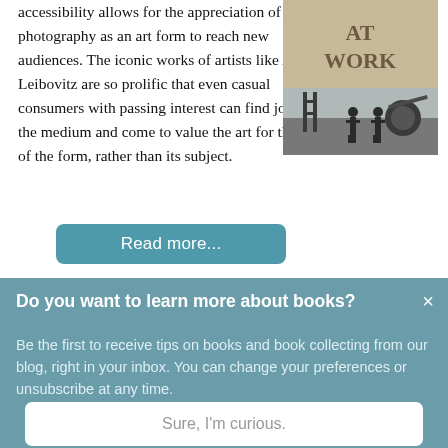accessibility allows for the appreciation of photography as an art form to reach new audiences. The iconic works of artists like Annie Leibovitz are so prolific that even casual consumers with passing interest can find joy in the medium and come to value the art for the sake of the form, rather than its subject.
[Figure (photo): Book cover showing 'AT WORK' text and a black-and-white photograph of people working outdoors with photography equipment]
Read more...
Do you want to learn more about books?
Be the first to receive tips on books and book collecting from our blog, right in your inbox. You can change your preferences or unsubscribe at any time.
Sure, I'm curious.